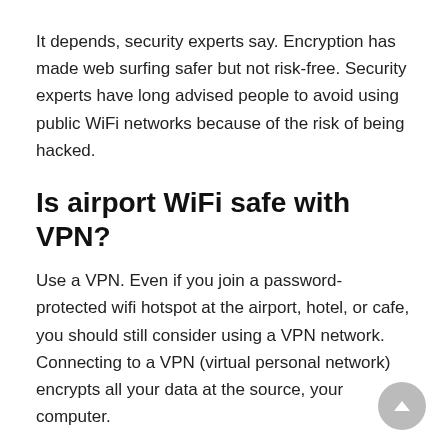It depends, security experts say. Encryption has made web surfing safer but not risk-free. Security experts have long advised people to avoid using public WiFi networks because of the risk of being hacked.
Is airport WiFi safe with VPN?
Use a VPN. Even if you join a password-protected wifi hotspot at the airport, hotel, or cafe, you should still consider using a VPN network. Connecting to a VPN (virtual personal network) encrypts all your data at the source, your computer.
Related Posts
1. Does Kealakekua Mcdonalds Have Free Wifi